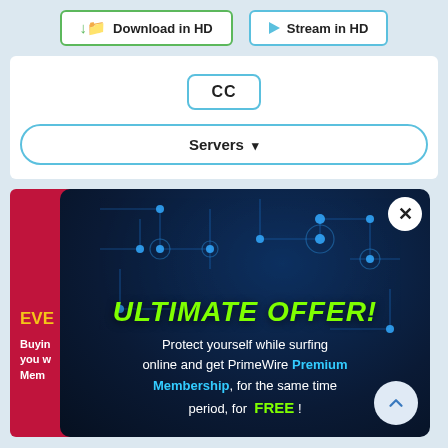[Figure (screenshot): Download in HD and Stream in HD buttons at the top]
CC
Servers ▾
[Figure (screenshot): Red promotional card partially visible behind the popup]
[Figure (infographic): Dark blue popup with circuit board background. Contains heading 'ULTIMATE OFFER!' and text: 'Protect yourself while surfing online and get PrimeWire Premium Membership, for the same time period, for FREE!']